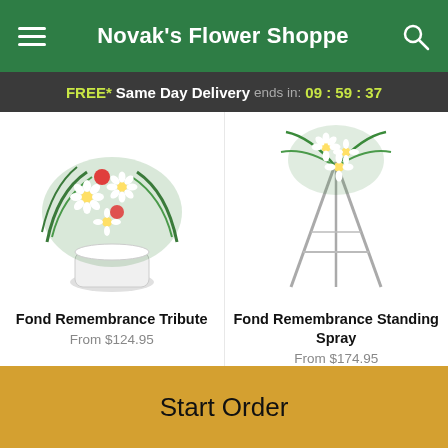Novak's Flower Shoppe
FREE* Same Day Delivery ends in: 09 : 59 : 37
[Figure (photo): Fond Remembrance Tribute floral arrangement in white pot with daisies and greenery]
Fond Remembrance Tribute
From $124.95
[Figure (photo): Fond Remembrance Standing Spray floral arrangement on easel stand]
Fond Remembrance Standing Spray
From $174.95
POWERED BY
[Figure (logo): Lovingly logo with pink heart/envelope icon and dark blue text]
Start Order